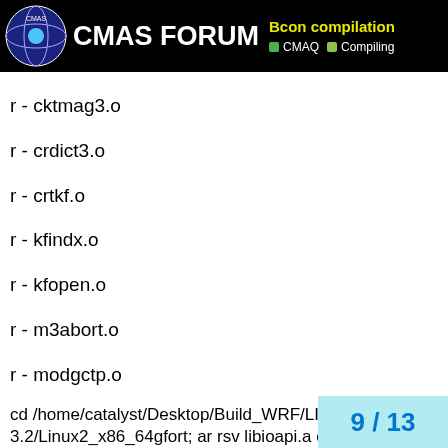CMAS FORUM | Bcon compilation | CMAQ | Compiling
r - cktmag3.o
r - crdict3.o
r - crtkf.o
r - kfindx.o
r - kfopen.o
r - m3abort.o
r - modgctp.o
r - opnlist3.o
r - rddict3.o
r - rdiddata.o
r - rdsmatrx.o
r - runspec.o
r - sync3.o
r - wrdict3.o
r - wriddata.o
r - wrsmatrx.o
r - xtract3.o
cd /home/catalyst/Desktop/Build_WRF/LIB3.2/Linux2_x86_64gfort; ar rsv libioapi.a cl
9 / 13